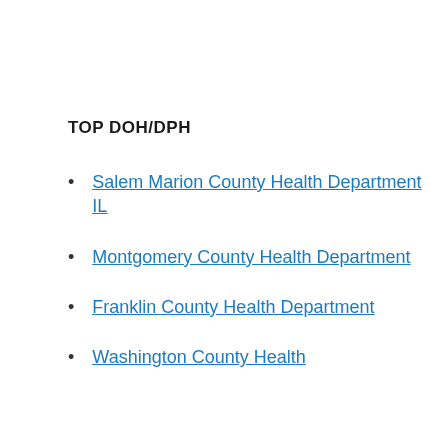TOP DOH/DPH
Salem Marion County Health Department IL
Montgomery County Health Department
Franklin County Health Department
Washington County Health